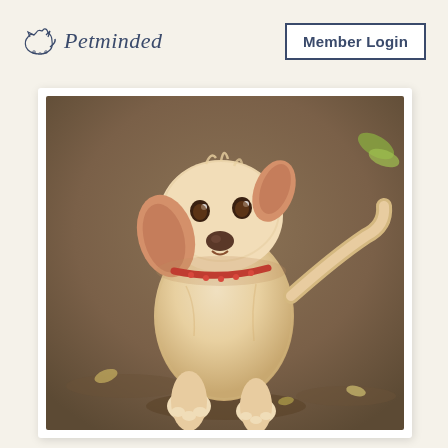Petminded  |  Member Login
[Figure (photo): A small fluffy cream and tan puppy with a red collar, standing on dirt ground looking up at the camera with a tilted head. The photo has a white border/frame giving it a polaroid-like appearance.]